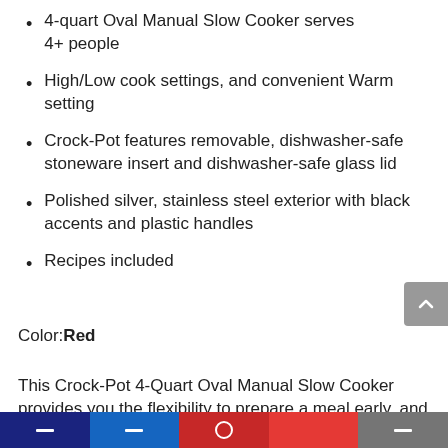4-quart Oval Manual Slow Cooker serves 4+ people
High/Low cook settings, and convenient Warm setting
Crock-Pot features removable, dishwasher-safe stoneware insert and dishwasher-safe glass lid
Polished silver, stainless steel exterior with black accents and plastic handles
Recipes included
Color: Red
This Crock-Pot 4-Quart Oval Manual Slow Cooker provides you the flexibility to prepare a meal early, and then have it